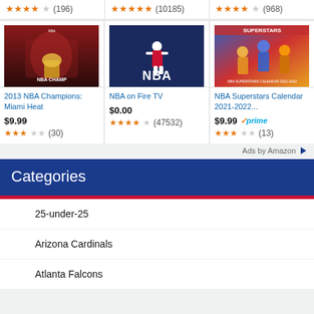★★★★½ (196)  ★★★★★ (10185)  ★★★★½ (968)
[Figure (photo): 2013 NBA Champions Miami Heat movie/video cover]
[Figure (logo): NBA on Fire TV logo — dark blue background with NBA logo in white and red]
[Figure (photo): NBA Superstars Calendar 2021-2022 cover with basketball players]
2013 NBA Champions: Miami Heat
NBA on Fire TV
NBA Superstars Calendar 2021-2022...
$9.99
$0.00
$9.99 prime
★★★½ (30)   ★★★★ (47532)   ★★★½ (13)
Ads by Amazon
Categories
25-under-25
Arizona Cardinals
Atlanta Falcons